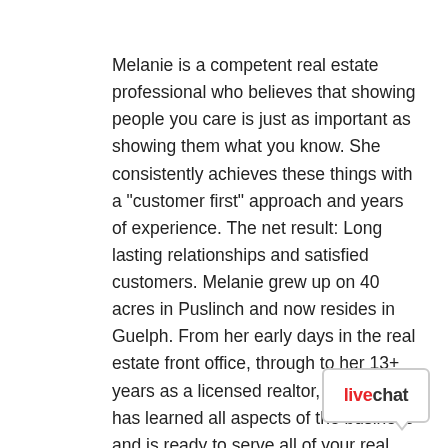Melanie is a competent real estate professional who believes that showing people you care is just as important as showing them what you know. She consistently achieves these things with a "customer first" approach and years of experience. The net result: Long lasting relationships and satisfied customers. Melanie grew up on 40 acres in Puslinch and now resides in Guelph. From her early days in the real estate front office, through to her 13+ years as a licensed realtor, Melanie has learned all aspects of the business and is ready to serve all of your real estate needs. For most people, buying a home is the biggest investment they will make in their lives and
[Figure (logo): LiveChat speech bubble logo with 'live' in red and 'chat' in dark text, inside a rounded rectangle chat bubble with a tail pointing down-right.]